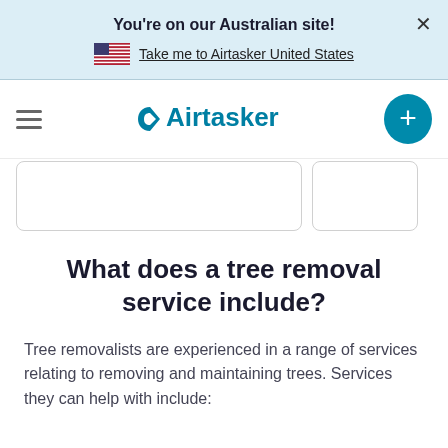You're on our Australian site!
Take me to Airtasker United States
[Figure (logo): Airtasker logo with navigation hamburger menu and plus button]
What does a tree removal service include?
Tree removalists are experienced in a range of services relating to removing and maintaining trees. Services they can help with include: